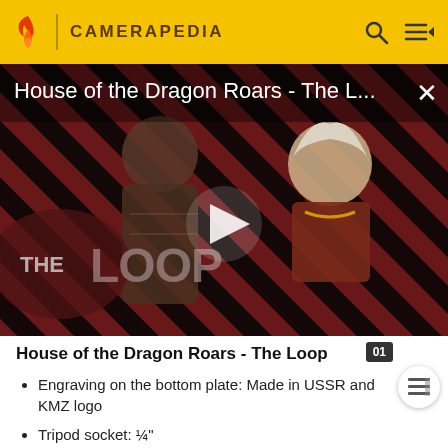CAMERAPEDIA
[Figure (screenshot): Video thumbnail for 'House of the Dragon Roars - The L...' showing two characters in medieval fantasy costumes against a red and black diagonal striped background with 'THE LOOP' text overlay and a play button in the center.]
House of the Dragon Roars - The Loop
Engraving on the bottom plate: Made in USSR and KMZ logo
Tripod socket: ¼"
Strap lugs: none